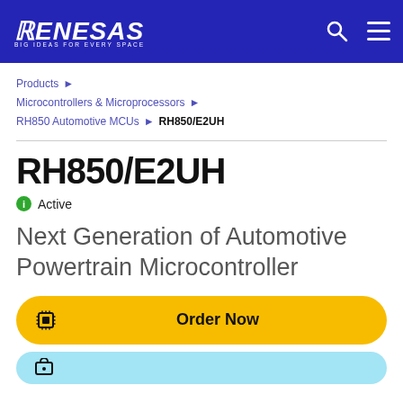RENESAS — BIG IDEAS FOR EVERY SPACE
Products › Microcontrollers & Microprocessors › RH850 Automotive MCUs › RH850/E2UH
RH850/E2UH
Active
Next Generation of Automotive Powertrain Microcontroller
Order Now